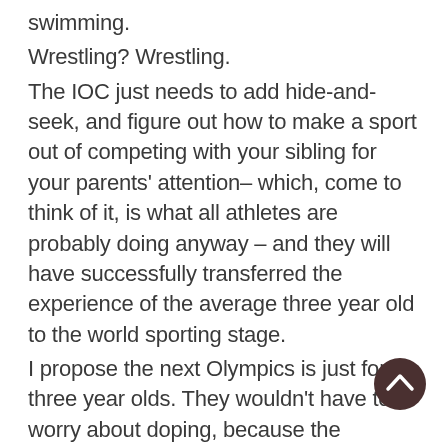swimming.
Wrestling? Wrestling.
The IOC just needs to add hide-and-seek, and figure out how to make a sport out of competing with your sibling for your parents' attention– which, come to think of it, is what all athletes are probably doing anyway – and they will have successfully transferred the experience of the average three year old to the world sporting stage.
I propose the next Olympics is just for three year olds. They wouldn't have to worry about doping, because the performance enhancing drugs probably taste disgusting and will be promptly spat out. Unless someone comes out with gummy anabolic steroids. Then there could be a problem.
[Figure (other): A circular dark brown/maroon button with a chevron/caret arrow pointing upward, used as a scroll-to-top navigation element.]